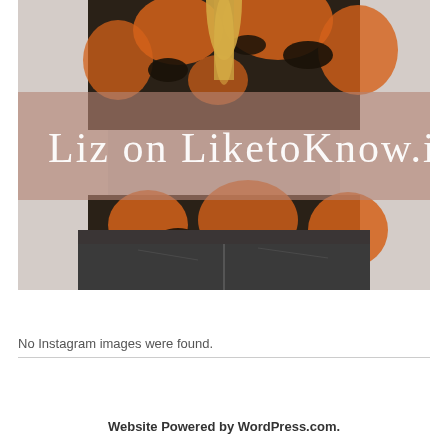[Figure (photo): Woman's back showing a floral orange and black top and dark jeans, with a mauve/pink semi-transparent overlay band across the middle containing the text 'Liz on LiketoKnow.it' in white cursive script]
No Instagram images were found.
Website Powered by WordPress.com.